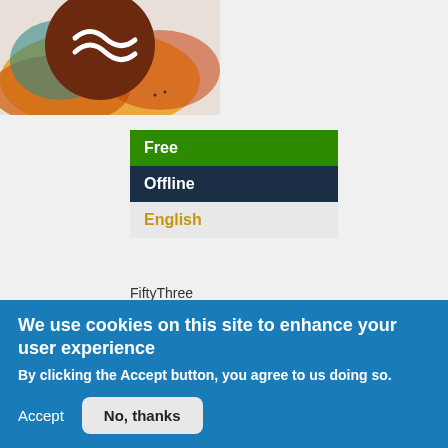[Figure (illustration): Colorful app icon showing a stylized face with watercolor background in orange, red and teal tones]
| Free |
| Offline |
| English |
FiftyThree
[Figure (infographic): Four social sharing buttons: Facebook (f), Twitter (bird), Email (envelope), More (+)]
[Figure (logo): Apple/iOS app store icon (partially visible)]
We use cookies on this site to enhance your user experience
By clicking the Accept button, you agree to us doing so.
Accept
No, thanks